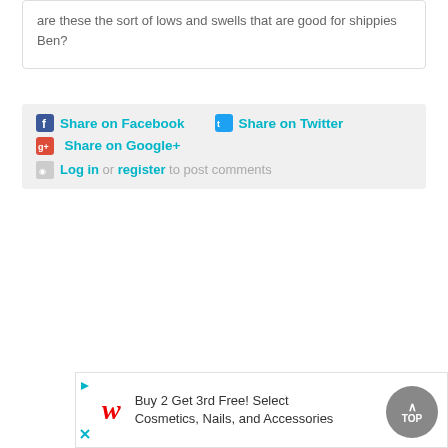are these the sort of lows and swells that are good for shippies Ben?
Share on Facebook   Share on Twitter   Share on Google+
Log in or register to post comments
[Figure (screenshot): Walgreens advertisement: Buy 2 Get 3rd Free! Select Cosmetics, Nails, and Accessories]
TOP